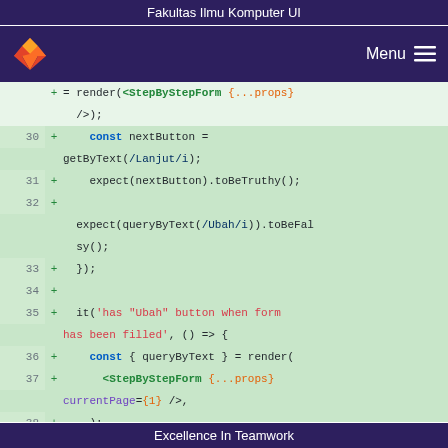Fakultas Ilmu Komputer UI
[Figure (screenshot): Navigation bar with fox logo and Menu hamburger icon on dark purple background]
Code diff showing lines 30-39 of a JavaScript test file with green highlighted additions including const nextButton = getByText(/Lanjut/i), expect(nextButton).toBeTruthy(), expect(queryByText(/Ubah/i)).toBeFalsy(), it block for 'has "Ubah" button when form has been filled', const { queryByText } = render(<StepByStepForm {...props} currentPage={1} />), expect(queryByText(/Ubah/i)).toBeTruthy()
Excellence In Teamwork